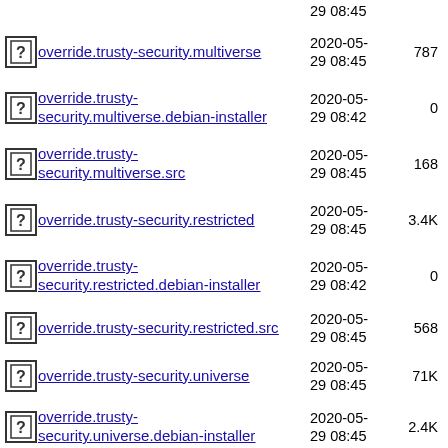override.trusty-security.multiverse  2020-05-29 08:45  787
override.trusty-security.multiverse.debian-installer  2020-05-29 08:42  0
override.trusty-security.multiverse.src  2020-05-29 08:45  168
override.trusty-security.restricted  2020-05-29 08:45  3.4K
override.trusty-security.restricted.debian-installer  2020-05-29 08:42  0
override.trusty-security.restricted.src  2020-05-29 08:45  568
override.trusty-security.universe  2020-05-29 08:45  71K
override.trusty-security.universe.debian-installer  2020-05-29 08:45  2.4K
override.trusty-security.universe.src  2020-05-29 08:45  5.5K
override.trusty-updates.extra.main  2020-05-29 08:45  9.4M
override.trusty-updates.extra.multiverse  2020-05-29 08:45  7.9M